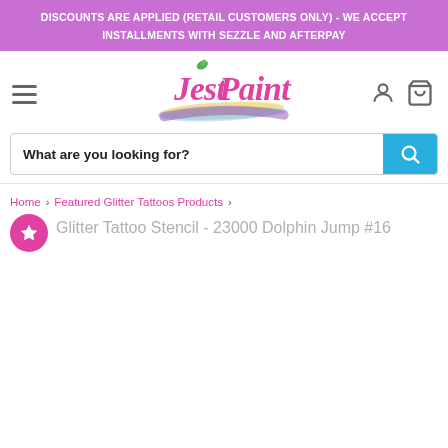DISCOUNTS ARE APPLIED (RETAIL CUSTOMERS ONLY) - WE ACCEPT INSTALLMENTS WITH SEZZLE AND AFTERPAY
[Figure (logo): Jest Paint logo with pink cursive text and colorful paint brush stroke]
What are you looking for?
Home > Featured Glitter Tattoos Products > Glitter Tattoo Stencil - 23000 Dolphin Jump #16